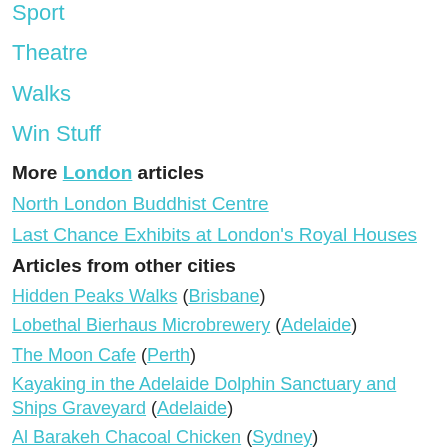Sport
Theatre
Walks
Win Stuff
More London articles
North London Buddhist Centre
Last Chance Exhibits at London's Royal Houses
Articles from other cities
Hidden Peaks Walks (Brisbane)
Lobethal Bierhaus Microbrewery (Adelaide)
The Moon Cafe (Perth)
Kayaking in the Adelaide Dolphin Sanctuary and Ships Graveyard (Adelaide)
Al Barakeh Chacoal Chicken (Sydney)
The Horseman from Snowy River (Adelaide)